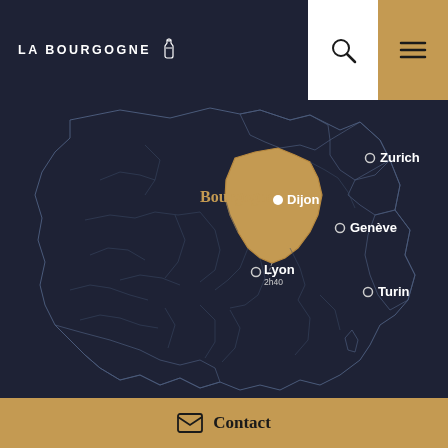LA BOURGOGNE
[Figure (map): Map of France showing the Bourgogne region highlighted in golden/tan color. Cities marked: Dijon (white dot, inside Bourgogne region), Lyon with distance '2h40', Genève, Zurich, Turin. The surrounding regions of France shown in dark navy with light grey borders.]
PRESENTATION
ADDITIONAL INFO
PRICES & SCHEDULES
Contact